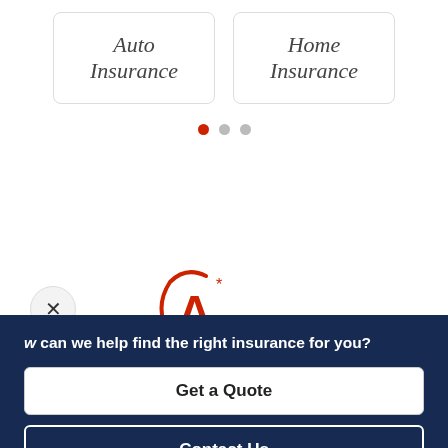[Figure (other): Auto Insurance card — bordered rounded rectangle with italic text 'Auto Insurance']
[Figure (other): Home Insurance card — bordered rounded rectangle with italic text 'Home Insurance']
[Figure (other): Carousel dots: one red filled dot (active) and two gray dots]
[Figure (logo): Red 'A*' logo with curved swoosh around the letter A]
[Figure (other): Close (X) button circle]
w can we help find the right insurance for you?
Get a Quote
Contact Us